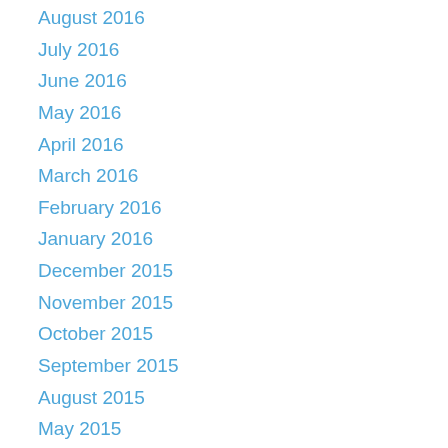August 2016
July 2016
June 2016
May 2016
April 2016
March 2016
February 2016
January 2016
December 2015
November 2015
October 2015
September 2015
August 2015
May 2015
April 2015
March 2015
February 2015
January 2015
December 2014
November 2014